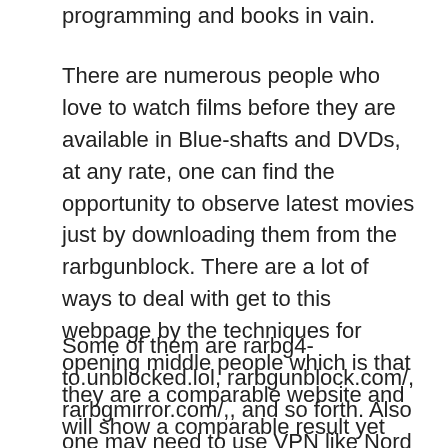programming and books in vain.
There are numerous people who love to watch films before they are available in Blue-shafts and DVDs, at any rate, one can find the opportunity to observe latest movies just by downloading them from the rarbgunblock. There are a lot of ways to deal with get to this webpage by the techniques for opening middle people which is that they are a comparable website and will show a comparable result yet they are the impression of the first since it might be impeded by the close by association which gives web.
Some of them are rarbg4-to.unblocked.lol, rarbgunblock.com/, rarbgmirror.com/,, and so forth. Also one may need to use VPN like Nord and other